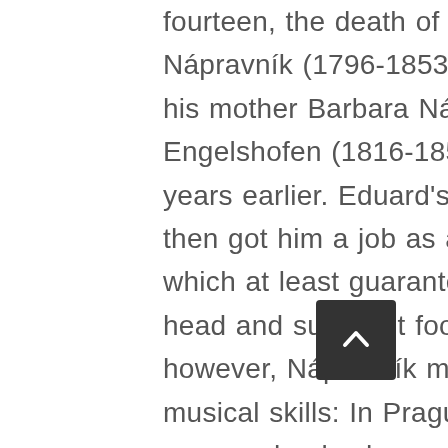fourteen, the death of his father František Nápravník (1796-1853) made him an orphan, his mother Barbara Nápravník née Clanner von Engelshofen (1816-1850) having died three years earlier. Eduard's uncle Augustin Svoboda then got him a job as an organist in Pardubice, which at least guaranteed him a roof over his head and sufficient food. After about a year, however, Nápravník moved on to develop his musical skills: In Prague he attended the local organ school, whose director